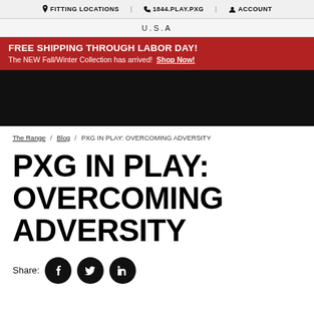FITTING LOCATIONS | 1844.PLAY.PXG | ACCOUNT
U.S.A
FREE SHIPPING THROUGH LABOR DAY! The NEW Fall/Winter Collection has arrived! Shop Now!
[Figure (photo): Dark/black hero image area]
The Range / Blog / PXG IN PLAY: OVERCOMING ADVERSITY
PXG IN PLAY: OVERCOMING ADVERSITY
Share: